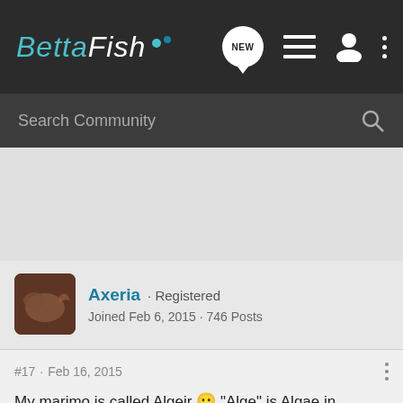[Figure (screenshot): BettaFish community website navigation bar with logo, NEW post button, list icon, user icon, and three-dot menu on dark background]
Search Community
Axeria · Registered
Joined Feb 6, 2015 · 746 Posts
#17 · Feb 16, 2015
My marimo is called Algeir 😛 "Alge" is Algae in Norwegian And